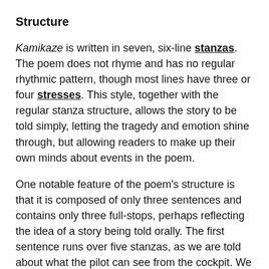Structure
Kamikaze is written in seven, six-line stanzas. The poem does not rhyme and has no regular rhythmic pattern, though most lines have three or four stresses. This style, together with the regular stanza structure, allows the story to be told simply, letting the tragedy and emotion shine through, but allowing readers to make up their own minds about events in the poem.
One notable feature of the poem's structure is that it is composed of only three sentences and contains only three full-stops, perhaps reflecting the idea of a story being told orally. The first sentence runs over five stanzas, as we are told about what the pilot can see from the cockpit. We are therefore given a lot of detail, allowing us to imagine more exactly the circumstances of the pilot's difficult decision.
The second sentence marks a shift in time and in speaker. The reader is presented with information